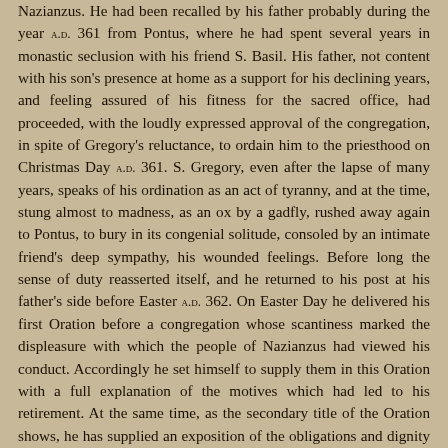Nazianzus. He had been recalled by his father probably during the year A.D. 361 from Pontus, where he had spent several years in monastic seclusion with his friend S. Basil. His father, not content with his son's presence at home as a support for his declining years, and feeling assured of his fitness for the sacred office, had proceeded, with the loudly expressed approval of the congregation, in spite of Gregory's reluctance, to ordain him to the priesthood on Christmas Day A.D. 361. S. Gregory, even after the lapse of many years, speaks of his ordination as an act of tyranny, and at the time, stung almost to madness, as an ox by a gadfly, rushed away again to Pontus, to bury in its congenial solitude, consoled by an intimate friend's deep sympathy, his wounded feelings. Before long the sense of duty reasserted itself, and he returned to his post at his father's side before Easter A.D. 362. On Easter Day he delivered his first Oration before a congregation whose scantiness marked the displeasure with which the people of Nazianzus had viewed his conduct. Accordingly he set himself to supply them in this Oration with a full explanation of the motives which had led to his retirement. At the same time, as the secondary title of the Oration shows, he has supplied an exposition of the obligations and dignity of the Priestly Office which has been drawn upon by all later writers on the subject. S. Chrysostom in his well-known treatise, S. Gregory the Great in his Pastoral Care, and Bossuet in his panegyric on S. Paul, have done little more than summarise the material or develop the considerations contained in this eloquent